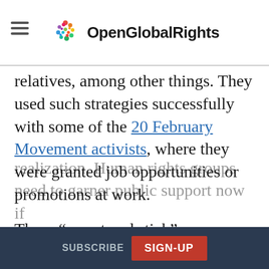OpenGlobalRights
relatives, among other things. They used such strategies successfully with some of the 20 February Movement activists, where they were granted job opportunities or promotions at work.
These “carrot and stick” approaches used by authorities to silence critics are eroding an already weak public support base for human rights. In sum, the hope that Morocco might radically change after the 2011 protests is far from realization. Human rights groups need to garner public support now if
SUBSCRIBE  SIGN-UP